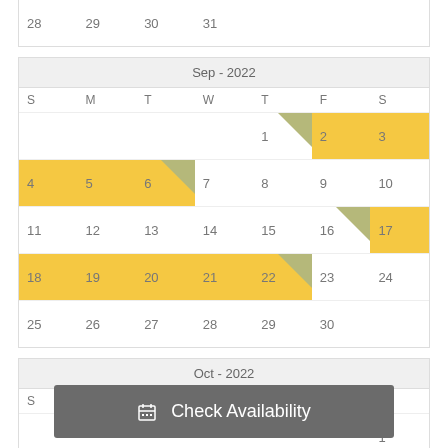| S | M | T | W | T | F | S |
| --- | --- | --- | --- | --- | --- | --- |
| 28 | 29 | 30 | 31 |  |  |  |
| S | M | T | W | T | F | S |
| --- | --- | --- | --- | --- | --- | --- |
|  |  |  |  | 1 | 2 | 3 |
| 4 | 5 | 6 | 7 | 8 | 9 | 10 |
| 11 | 12 | 13 | 14 | 15 | 16 | 17 |
| 18 | 19 | 20 | 21 | 22 | 23 | 24 |
| 25 | 26 | 27 | 28 | 29 | 30 |  |
| S | M | T | W | T | F | S |
| --- | --- | --- | --- | --- | --- | --- |
|  |  |  |  |  |  | 1 |
Check Availability